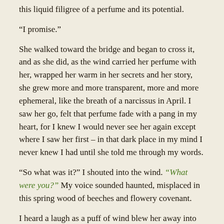this liquid filigree of a perfume and its potential.
“I promise.”
She walked toward the bridge and began to cross it, and as she did, as the wind carried her perfume with her, wrapped her warm in her secrets and her story, she grew more and more transparent, more and more ephemeral, like the breath of a narcissus in April. I saw her go, felt that perfume fade with a pang in my heart, for I knew I would never see her again except where I saw her first – in that dark place in my mind I never knew I had until she told me through my words.
“So what was it?” I shouted into the wind. “What were you?” My voice sounded haunted, misplaced in this spring wood of beeches and flowery covenant.
I heard a laugh as a puff of wind blew her away into the air, blew her perfume into a limitless blue sky.
“You didn’t know?” she called out, from beyond the bridge now, gone with her evanescent perfume, her own promises and portent. “Tell Neil – he got it right! That I’m all of this and one thing more, one thing you should have known.”